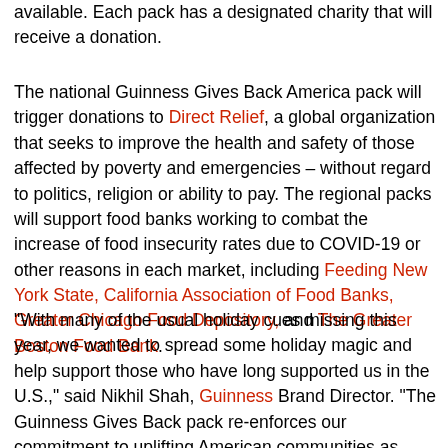available. Each pack has a designated charity that will receive a donation.
The national Guinness Gives Back America pack will trigger donations to Direct Relief, a global organization that seeks to improve the health and safety of those affected by poverty and emergencies – without regard to politics, religion or ability to pay. The regional packs will support food banks working to combat the increase of food insecurity rates due to COVID-19 or other reasons in each market, including Feeding New York State, California Association of Food Banks, Greater Chicago Food Depository, and The Greater Boston Food Bank.
“With many of the usual holiday cues missing this year, we wanted to spread some holiday magic and help support those who have long supported us in the U.S.,” said Nikhil Shah, Guinness Brand Director. “The Guinness Gives Back pack re-enforces our commitment to uplifting American communities as